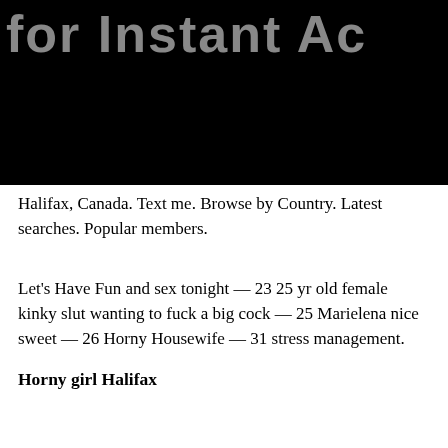[Figure (other): Black banner image with partial large grey bold text reading 'for Instant Ac' (cropped) on black background]
Halifax, Canada. Text me. Browse by Country. Latest searches. Popular members.
Let's Have Fun and sex tonight — 23 25 yr old female kinky slut wanting to fuck a big cock — 25 Marielena nice sweet — 26 Horny Housewife — 31 stress management.
Horny girl Halifax